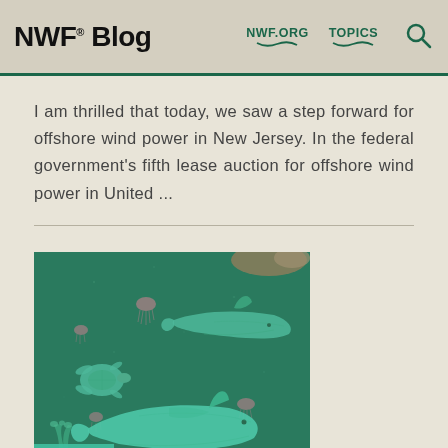NWF® Blog  NWF.ORG  TOPICS
I am thrilled that today, we saw a step forward for offshore wind power in New Jersey. In the federal government's fifth lease auction for offshore wind power in United ...
[Figure (illustration): Illustration of underwater ocean scene with whales, sea turtles, jellyfish, and corals on a dark teal/green background]